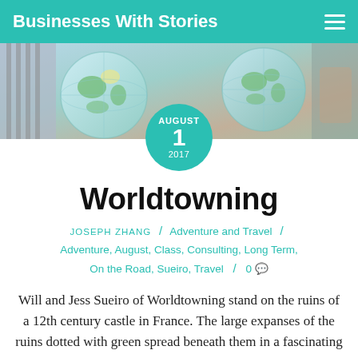Businesses With Stories
[Figure (photo): Two people holding large inflatable globe balls, photo used as hero banner image]
AUGUST 1 2017
Worldtowning
JOSEPH ZHANG / Adventure and Travel / Adventure, August, Class, Consulting, Long Term, On the Road, Sueiro, Travel / 0 💬
Will and Jess Sueiro of Worldtowning stand on the ruins of a 12th century castle in France. The large expanses of the ruins dotted with green spread beneath them in a fascinating display. As the sun